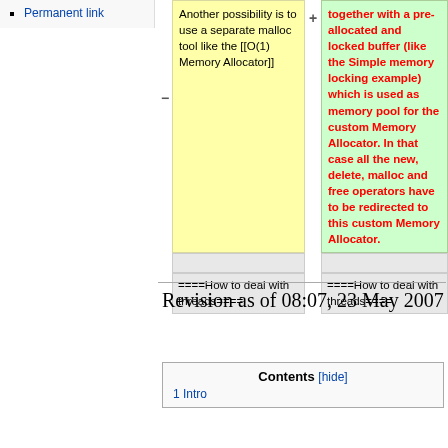Permanent link
| - | + |
| --- | --- |
| Another possibility is to use a separate malloc tool like the [[O(1) Memory Allocator]] | together with a pre-allocated and locked buffer (like the Simple memory locking example) which is used as memory pool for the custom Memory Allocator. In that case all the new, delete, malloc and free operators have to be redirected to this custom Memory Allocator. |
|  |  |
| ====How to deal with threads==== | ====How to deal with threads==== |
Revision as of 08:07, 23 May 2007
Contents [hide]
1 Intro